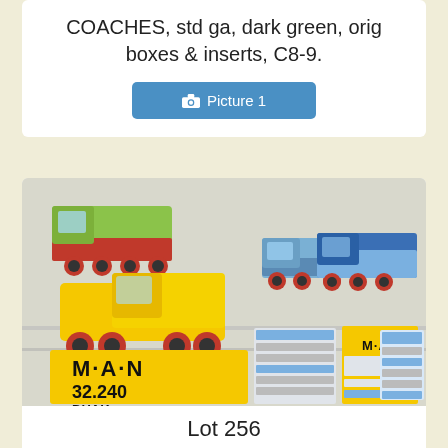COACHES, std ga, dark green, orig boxes & inserts, C8-9.
[Figure (screenshot): A blue button labeled 'Picture 1' with a camera icon]
[Figure (photo): Photo of 4 Conrad model trucks including MAN 32.240 DHAK yellow dump truck and other MAN trucks in blue/light blue, with original boxes]
Lot 256
256. 4 CONRAD TRUCKS, 3240, 3140, 3036, 3035, 3 MAN trucks, 1